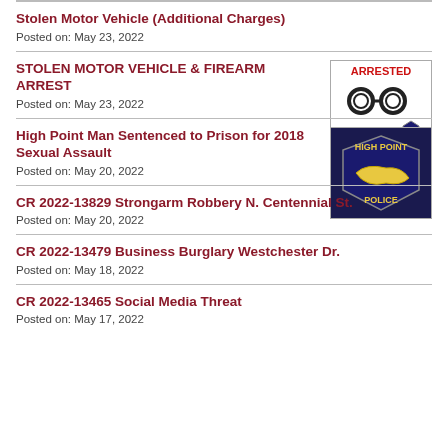Stolen Motor Vehicle (Additional Charges)
Posted on: May 23, 2022
STOLEN MOTOR VEHICLE & FIREARM ARREST
Posted on: May 23, 2022
[Figure (illustration): ARRESTED graphic with handcuffs and police badge]
High Point Man Sentenced to Prison for 2018 Sexual Assault
Posted on: May 20, 2022
[Figure (illustration): High Point Police badge patch logo]
CR 2022-13829 Strongarm Robbery N. Centennial St.
Posted on: May 20, 2022
CR 2022-13479 Business Burglary Westchester Dr.
Posted on: May 18, 2022
CR 2022-13465 Social Media Threat
Posted on: May 17, 2022